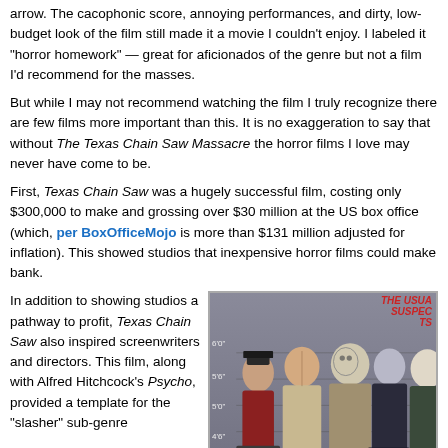arrow. The cacophonic score, annoying performances, and dirty, low-budget look of the film still made it a movie I couldn't enjoy. I labeled it "horror homework" — great for aficionados of the genre but not a film I'd recommend for the masses.
But while I may not recommend watching the film I truly recognize there are few films more important than this. It is no exaggeration to say that without The Texas Chain Saw Massacre the horror films I love may never have come to be.
First, Texas Chain Saw was a hugely successful film, costing only $300,000 to make and grossing over $30 million at the US box office (which, per BoxOfficeMojo is more than $131 million adjusted for inflation). This showed studios that inexpensive horror films could make bank.
In addition to showing studios a pathway to profit, Texas Chain Saw also inspired screenwriters and directors. This film, along with Alfred Hitchcock's Psycho, provided a template for the "slasher" sub-genre
[Figure (illustration): Animated cartoon-style police lineup illustration showing famous horror movie villains: Freddy Krueger, Leatherface, Jason Voorhees, Pinhead, Michael Myers, and Chucky, each holding police department signs. Text reads 'The Usual Suspects' in red at top right.]